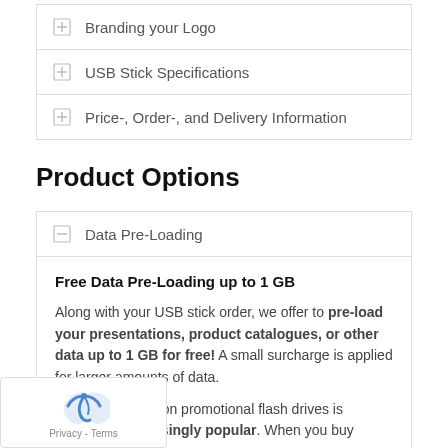Branding your Logo
USB Stick Specifications
Price-, Order-, and Delivery Information
Product Options
Data Pre-Loading
Free Data Pre-Loading up to 1 GB
Along with your USB stick order, we offer to pre-load your presentations, product catalogues, or other data up to 1 GB for free! A small surcharge is applied for larger amounts of data.
Pre-loading data on promotional flash drives is becoming increasingly popular. When you buy